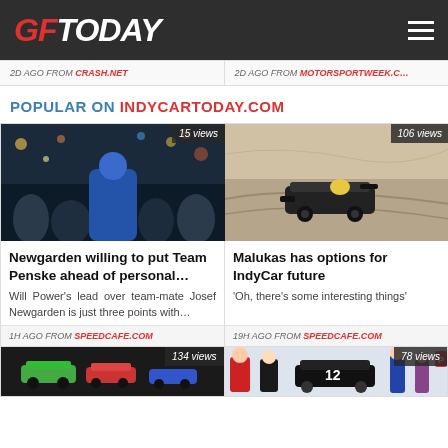GFToday
2D AGO FROM CRASH.NET
2D AGO FROM MOTORSPORTWEEK.C...
POPULAR ON INDYCARTODAY.COM
[Figure (photo): Racing driver celebrating victory in blue suit at night with crowd, 15 views]
Newgarden willing to put Team Penske ahead of personal...
Will Power's lead over team-mate Josef Newgarden is just three points with...
1H AGO FROM SPEEDCAFE.COM
[Figure (photo): IndyCar racing car on track, 106 views]
Malukas has options for IndyCar future
'Oh, there's some interesting things'
19H AGO FROM SPEEDCAFE.COM
[Figure (photo): IndyCar race with multiple cars, 134 views]
[Figure (photo): Driver near car number 12, 78 views]